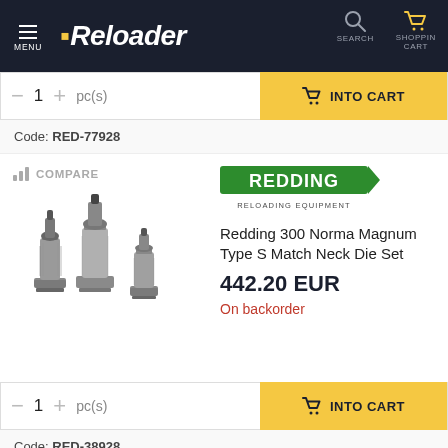Reloader — MENU | SEARCH | SHOPPING CART
− 1 + pc(s)
INTO CART
Code: RED-77928
COMPARE
[Figure (photo): Three metallic reloading dies of varying sizes arranged together]
[Figure (logo): Redding Reloading Equipment logo — green rectangle with white REDDING text]
Redding 300 Norma Magnum Type S Match Neck Die Set
442.20 EUR
On backorder
− 1 + pc(s)
INTO CART
Code: RED-38928